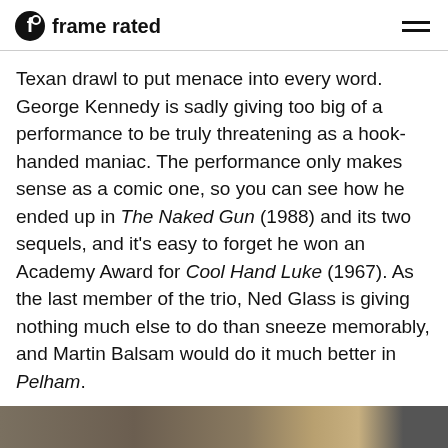frame rated
Texan drawl to put menace into every word. George Kennedy is sadly giving too big of a performance to be truly threatening as a hook-handed maniac. The performance only makes sense as a comic one, so you can see how he ended up in The Naked Gun (1988) and its two sequels, and it's easy to forget he won an Academy Award for Cool Hand Luke (1967). As the last member of the trio, Ned Glass is giving nothing much else to do than sneeze memorably, and Martin Balsam would do it much better in Pelham.
[Figure (photo): Still from film — dark interior scene with figures visible]
0 SHARES